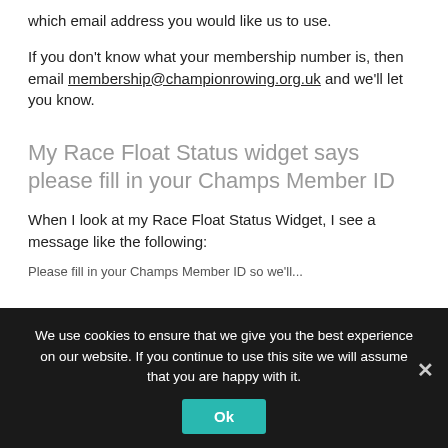which email address you would like us to use.
If you don't know what your membership number is, then email membership@championrowing.org.uk and we'll let you know.
My Race Float Status widget says please fill in your Champs Member ID
When I look at my Race Float Status Widget, I see a message like the following:
Please fill in your Champs Member ID so we'll...
We use cookies to ensure that we give you the best experience on our website. If you continue to use this site we will assume that you are happy with it.